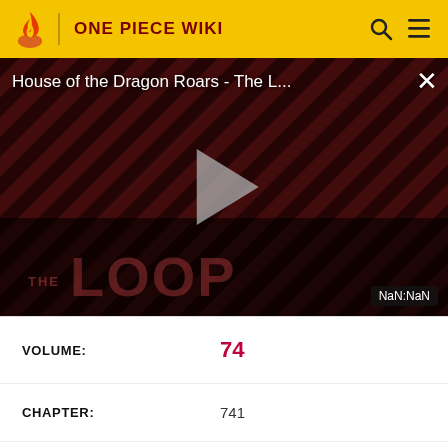ONE PIECE WIKI
[Figure (screenshot): Video player showing 'House of the Dragon Roars - The L...' with a play button overlay and 'THE LOOP' text visible. Timestamp shows NaN:NaN.]
| VOLUME: | 74 |
| CHAPTER: | 741 |
| JAPANESE TITLE: | ｄｄｄｄｄｄｄｄｄ |